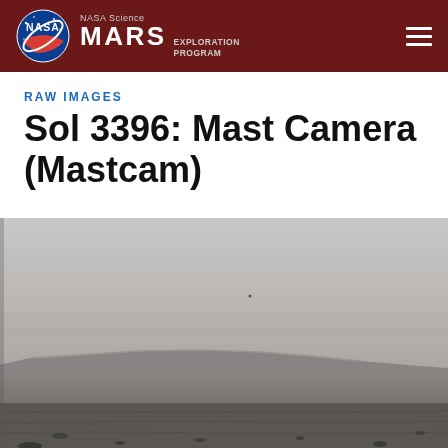NASA Science MARS EXPLORATION PROGRAM
RAW IMAGES
Sol 3396: Mast Camera (Mastcam)
[Figure (photo): Black and white raw image from Mars Curiosity rover Mastcam showing a flat Martian landscape with a low rocky ridge or mesa in the middle distance under a hazy sky.]